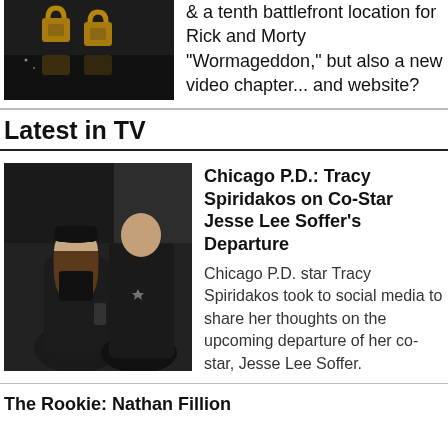[Figure (photo): Two gold padlocks on a dark wet surface]
& a tenth battlefront location for Rick and Morty "Wormageddon," but also a new video chapter... and website?
Latest in TV
[Figure (photo): Two people in dark winter jackets, a woman and a man, appear to be law enforcement officers from Chicago P.D.]
Chicago P.D.: Tracy Spiridakos on Co-Star Jesse Lee Soffer's Departure
Chicago P.D. star Tracy Spiridakos took to social media to share her thoughts on the upcoming departure of her co-star, Jesse Lee Soffer.
The Rookie: Nathan Fillion